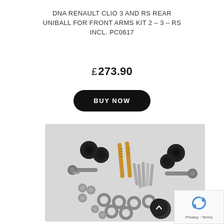DNA RENAULT CLIO 3 AND RS REAR UNIBALL FOR FRONT ARMS KIT 2 – 3 – RS INCL. PC0617
£ 273.90
BUY NOW
[Figure (photo): Product photo of a uniball front arms kit showing rod ends, gold-anodized threaded rods, bolts, spacers, washers, and hardware components spread out on a light grey background.]